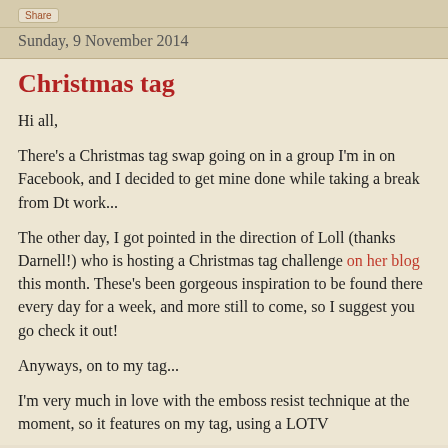Share
Sunday, 9 November 2014
Christmas tag
Hi all,
There's a Christmas tag swap going on in a group I'm in on Facebook, and I decided to get mine done while taking a break from Dt work...
The other day, I got pointed in the direction of Loll (thanks Darnell!) who is hosting a Christmas tag challenge on her blog this month. These's been gorgeous inspiration to be found there every day for a week, and more still to come, so I suggest you go check it out!
Anyways, on to my tag...
I'm very much in love with the emboss resist technique at the moment, so it features on my tag, using a LOTV